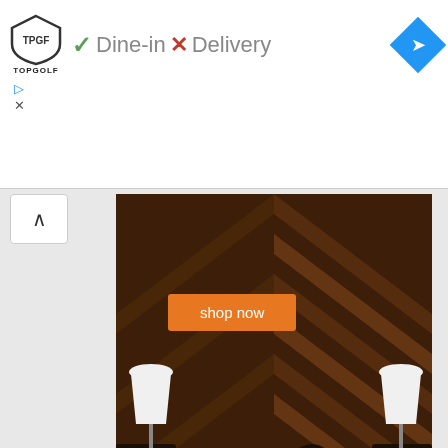[Figure (screenshot): Top advertisement banner for Topgolf with Dine-in checkmark and Delivery X marks, plus blue navigation diamond icon]
[Figure (photo): Couple sitting on a bed with white bedding, fur throw, and wood chevron wall behind them. Orange 'shop now' button overlaid on the photo.]
Photos: Prince Williams/ATLPics
CLICK HERE for more pics from the
[Figure (screenshot): Bottom advertisement banner for Homesense with tagline 'Here, unique is everyday.' and blue navigation diamond icon]